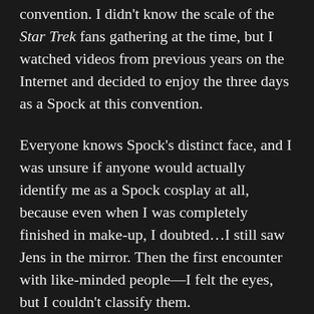convention. I didn't know the scale of the Star Trek fans gathering at the time, but I watched videos from previous years on the Internet and decided to enjoy the three days as a Spock at this convention.
Everyone knows Spock's distinct face, and I was unsure if anyone would actually identify me as a Spock cosplay at all, because even when I was completely finished in make-up, I doubted...I still saw Jens in the mirror. Then the first encounter with like-minded people—I felt the eyes, but I couldn't classify them.
I had a first startling situation at a booth where Tribbles were sold when the seller was